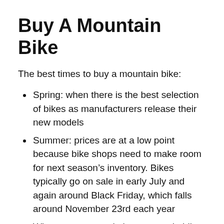Buy A Mountain Bike
The best times to buy a mountain bike:
Spring: when there is the best selection of bikes as manufacturers release their new models
Summer: prices are at a low point because bike shops need to make room for next season’s inventory. Bikes typically go on sale in early July and again around Black Friday, which falls around November 23rd each year
Winter: many people buy mountain bikes during this time since they want to take advantage of winter riding conditions before it gets too cold outside. You can also get discounts if…